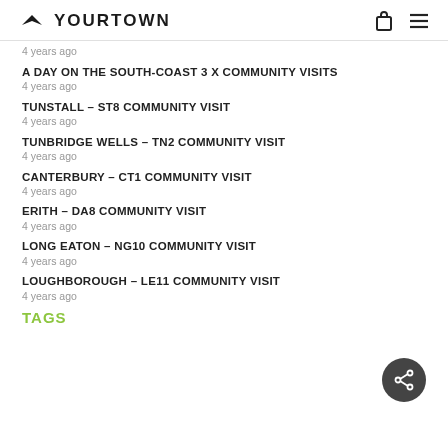YOURTOWN
4 years ago
A DAY ON THE SOUTH-COAST 3 X COMMUNITY VISITS
4 years ago
TUNSTALL – ST8 COMMUNITY VISIT
4 years ago
TUNBRIDGE WELLS – TN2 COMMUNITY VISIT
4 years ago
CANTERBURY – CT1 COMMUNITY VISIT
4 years ago
ERITH – DA8 COMMUNITY VISIT
4 years ago
LONG EATON – NG10 COMMUNITY VISIT
4 years ago
LOUGHBOROUGH – LE11 COMMUNITY VISIT
4 years ago
TAGS